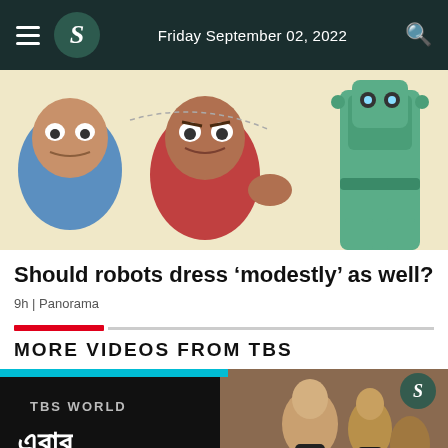Friday September 02, 2022
[Figure (illustration): Comic/cartoon style illustration showing two animated arguing human characters on the left and a robot figure wearing a green suit on the right]
Should robots dress ‘modestly’ as well?
9h | Panorama
MORE VIDEOS FROM TBS
[Figure (screenshot): Video thumbnail showing TBS World branding with Bengali text and a background of people dancing]